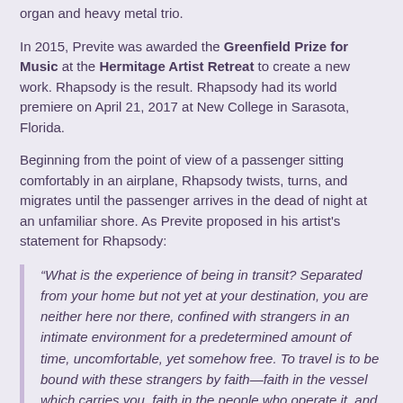organ and heavy metal trio.
In 2015, Previte was awarded the Greenfield Prize for Music at the Hermitage Artist Retreat to create a new work. Rhapsody is the result. Rhapsody had its world premiere on April 21, 2017 at New College in Sarasota, Florida.
Beginning from the point of view of a passenger sitting comfortably in an airplane, Rhapsody twists, turns, and migrates until the passenger arrives in the dead of night at an unfamiliar shore. As Previte proposed in his artist's statement for Rhapsody:
“What is the experience of being in transit? Separated from your home but not yet at your destination, you are neither here nor there, confined with strangers in an intimate environment for a predetermined amount of time, uncomfortable, yet somehow free. To travel is to be bound with these strangers by faith—faith in the vessel which carries you, faith in the people who operate it, and ultimately, faith in the strangers waiting at your destination.”